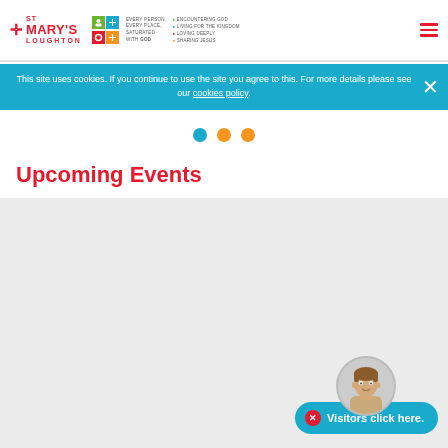St Mary's Loughton — website header with logo, icon grid, tagline, and hamburger menu
This site uses cookies. If you continue to use the site you agree to this. For more details please see our cookies policy.
[Figure (other): Carousel navigation dots: one teal/blue dot and two orange dots]
Upcoming Events
[Figure (other): Light grey events content area (empty/loading)]
[Figure (other): Visitor chat widget with illustrated avatar and 'Visitors click here.' button]